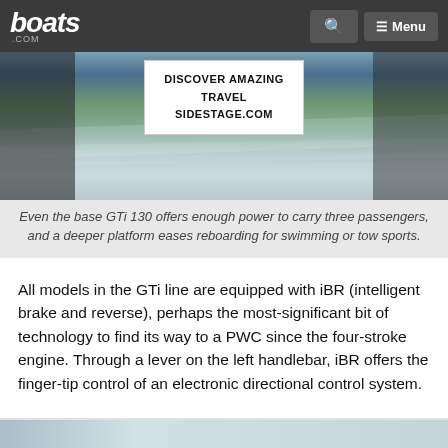boats.com
[Figure (photo): A personal watercraft (PWC/jet ski) moving fast across water with an advertisement overlay reading 'DISCOVER AMAZING TRAVEL SIDESTAGE.COM']
Even the base GTi 130 offers enough power to carry three passengers, and a deeper platform eases reboarding for swimming or tow sports.
All models in the GTi line are equipped with iBR (intelligent brake and reverse), perhaps the most-significant bit of technology to find its way to a PWC since the four-stroke engine. Through a lever on the left handlebar, iBR offers the finger-tip control of an electronic directional control system.
[Figure (photo): Bottom portion of another photo, partially visible at the bottom of the page]